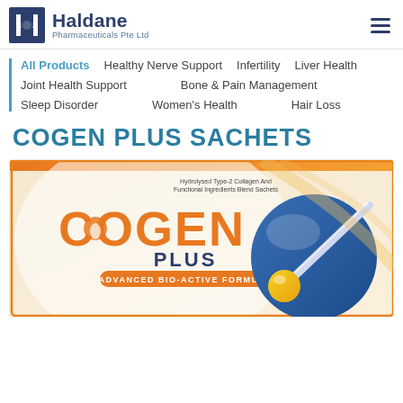Haldane Pharmaceuticals Pte Ltd
All Products
Healthy Nerve Support
Infertility
Liver Health
Joint Health Support
Bone & Pain Management
Sleep Disorder
Women's Health
Hair Loss
COGEN PLUS SACHETS
[Figure (photo): Product packaging for Cogen Plus Sachets — Hydrolysed Type-2 Collagen And Functional Ingredients Blend Sachets, Advanced Bio-Active Formula, showing orange and blue box design with joint/needle graphic.]